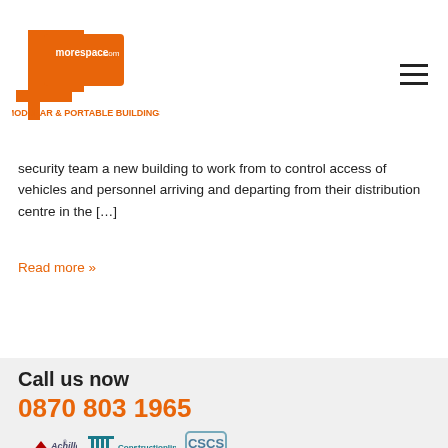[Figure (logo): 4morespace.com logo with orange numeral 4 and text MODULAR & PORTABLE BUILDINGS]
security team a new building to work from to control access of vehicles and personnel arriving and departing from their distribution centre in the [...]
Read more »
Call us now
0870 803 1965
[Figure (logo): Achilles certification logo]
[Figure (logo): Constructionline UK Government Certification Service logo]
[Figure (logo): CSCS Construction Skills Certification Scheme logo]
[Figure (logo): EUSR logo with star-cross symbol]
[Figure (logo): RISQS certification logo]
[Figure (logo): SafeContractor logo]
[Figure (logo): CHAS logo]